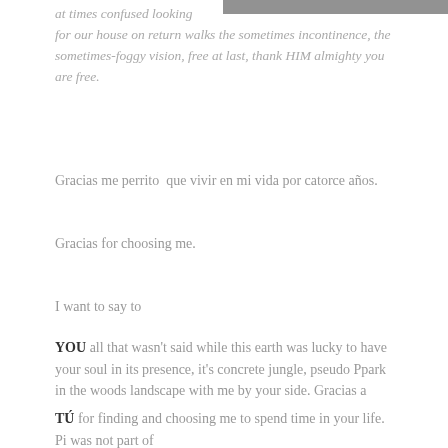[Figure (photo): Partial photo of what appears to be an animal (dog/cat), cropped at the top of the page on the right side]
at times confused looking
for our house on return walks the sometimes incontinence, the sometimes-foggy vision, free at last, thank HIM almighty you are free.
Gracias me perrito  que vivir en mi vida por catorce años.
Gracias for choosing me.
I want to say to
YOU all that wasn't said while this earth was lucky to have your soul in its presence, it's concrete jungle, pseudo Ppark in the woods landscape with me by your side. Gracias a
TÚ for finding and choosing me to spend time in your life. Pi was not part of